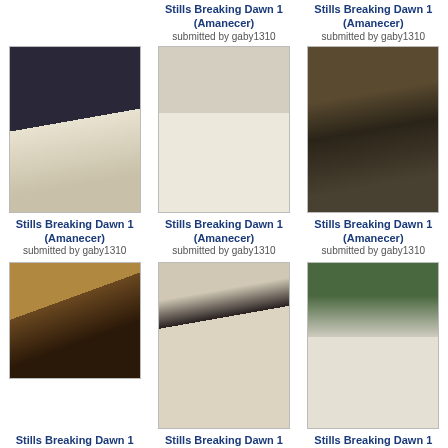[Figure (photo): Twilight Breaking Dawn still - partial top]
Stills Breaking Dawn 1 (Amanecer)
submitted by gaby1310
Stills Breaking Dawn 1 (Amanecer)
submitted by gaby1310
[Figure (photo): Wedding couple back view]
[Figure (photo): Bride dress hands close-up]
[Figure (photo): Jacob on motorcycle]
Stills Breaking Dawn 1 (Amanecer)
submitted by gaby1310
Stills Breaking Dawn 1 (Amanecer)
submitted by gaby1310
Stills Breaking Dawn 1 (Amanecer)
submitted by gaby1310
[Figure (photo): Throne room scene]
[Figure (photo): Edward and Bella wedding]
[Figure (photo): Edward standing in garden]
Stills Breaking Dawn 1 (Amanecer)
submitted by gaby1310
Stills Breaking Dawn 1 (Amanecer)
submitted by gaby1310
Stills Breaking Dawn 1 (Amanecer)
submitted by gaby1310
[Figure (photo): Bottom left partial - wedding couple]
[Figure (photo): Bottom center partial - floral arch]
[Figure (photo): Bottom right partial - character by door]